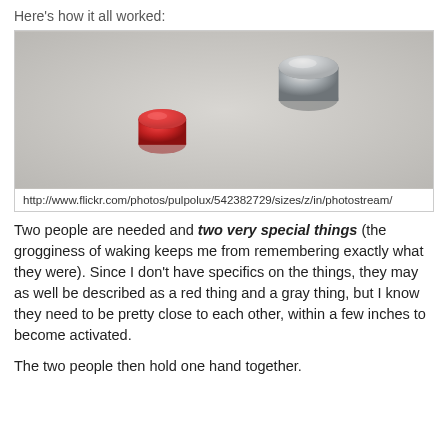Here's how it all worked:
[Figure (photo): A red cylindrical object and a gray cylindrical object placed on a light gray surface, photographed from above at a slight angle.]
http://www.flickr.com/photos/pulpolux/542382729/sizes/z/in/photostream/
Two people are needed and two very special things (the grogginess of waking keeps me from remembering exactly what they were). Since I don't have specifics on the things, they may as well be described as a red thing and a gray thing, but I know they need to be pretty close to each other, within a few inches to become activated.
The two people then hold one hand together.